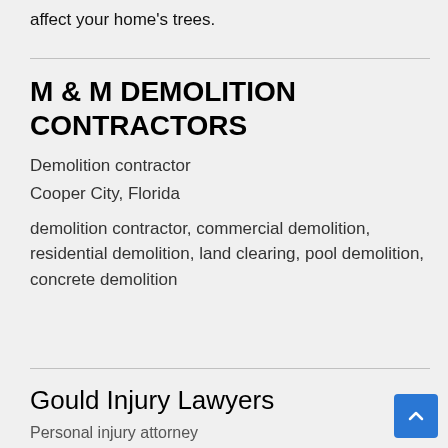affect your home's trees.
M & M DEMOLITION CONTRACTORS
Demolition contractor
Cooper City, Florida
demolition contractor, commercial demolition, residential demolition, land clearing, pool demolition, concrete demolition
Gould Injury Lawyers
Personal injury attorney
New Haven, CT